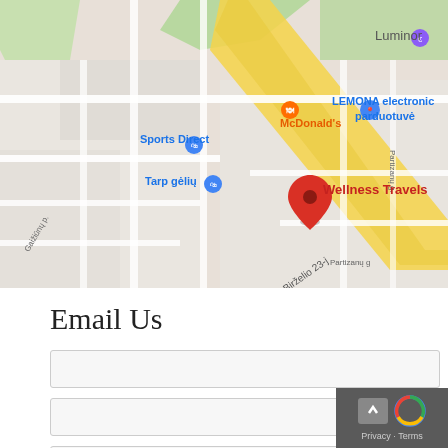[Figure (map): Google Maps screenshot showing location of Wellness Travels marked with red pin on Birželio 23-j street, with nearby landmarks including McDonald's, Sports Direct, Tarp gėlių, LEMONA electronic parduotuvė, and Luminor bank.]
Email Us
Name *
Email *